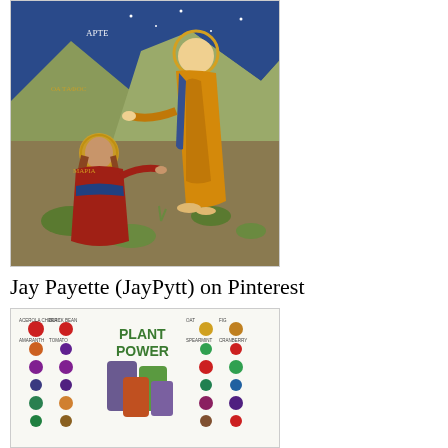[Figure (illustration): Byzantine/Orthodox icon painting showing a robed figure in orange/gold standing and gesturing toward a kneeling figure with a halo, set against a mountainous background with Greek text]
Jay Payette (JayPytt) on Pinterest
[Figure (infographic): Plant Power infographic showing various plant-based foods and supplements arranged in a grid with product bottles in the center]